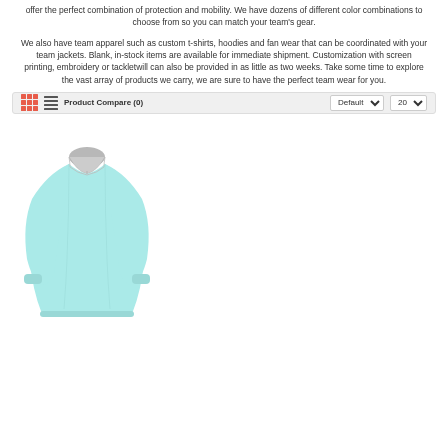offer the perfect combination of protection and mobility. We have dozens of different color combinations to choose from so you can match your team's gear.
We also have team apparel such as custom t-shirts, hoodies and fan wear that can be coordinated with your team jackets. Blank, in-stock items are available for immediate shipment. Customization with screen printing, embroidery or tackletwill can also be provided in as little as two weeks. Take some time to explore the vast array of products we carry, we are sure to have the perfect team wear for you.
[Figure (screenshot): Product toolbar with grid/list view icons, Product Compare (0) label, Default sort dropdown, and 20 items per page dropdown]
[Figure (photo): Light blue quarter-zip pullover jacket with grey collar, long sleeves, product photo on white background]